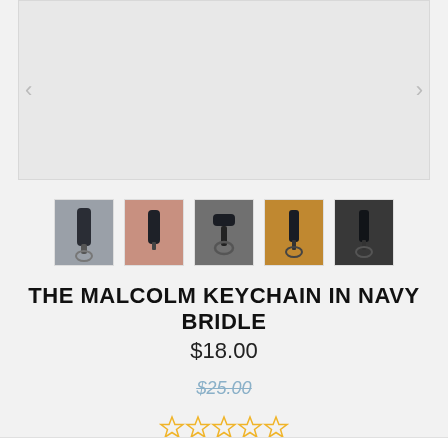[Figure (photo): Main product image area showing keychain — large grey placeholder with left/right navigation arrows]
[Figure (photo): Row of 5 thumbnail images of the Malcolm Keychain in Navy Bridle from different angles]
THE MALCOLM KEYCHAIN IN NAVY BRIDLE
$18.00
$25.00
[Figure (other): 5-star rating widget showing 0 out of 5 stars (all empty/outline stars in gold/yellow)]